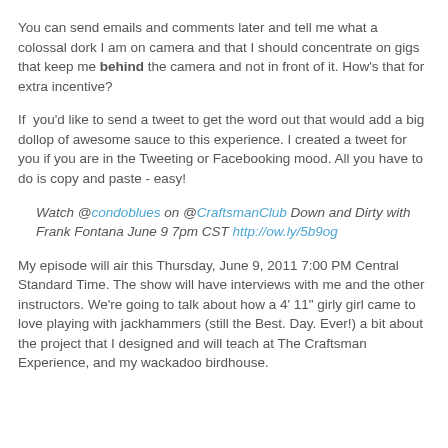You can send emails and comments later and tell me what a colossal dork I am on camera and that I should concentrate on gigs that keep me behind the camera and not in front of it. How's that for extra incentive?
If  you'd like to send a tweet to get the word out that would add a big dollop of awesome sauce to this experience. I created a tweet for you if you are in the Tweeting or Facebooking mood. All you have to do is copy and paste - easy!
Watch @condoblues on @CraftsmanClub Down and Dirty with Frank Fontana June 9 7pm CST http://ow.ly/5b9og
My episode will air this Thursday, June 9, 2011 7:00 PM Central Standard Time. The show will have interviews with me and the other instructors. We're going to talk about how a 4' 11" girly girl came to love playing with jackhammers (still the Best. Day. Ever!) a bit about the project that I designed and will teach at The Craftsman Experience, and my wackadoo birdhouse.